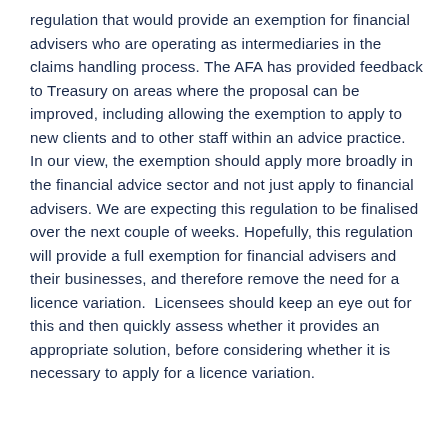regulation that would provide an exemption for financial advisers who are operating as intermediaries in the claims handling process. The AFA has provided feedback to Treasury on areas where the proposal can be improved, including allowing the exemption to apply to new clients and to other staff within an advice practice.  In our view, the exemption should apply more broadly in the financial advice sector and not just apply to financial advisers. We are expecting this regulation to be finalised over the next couple of weeks. Hopefully, this regulation will provide a full exemption for financial advisers and their businesses, and therefore remove the need for a licence variation.  Licensees should keep an eye out for this and then quickly assess whether it provides an appropriate solution, before considering whether it is necessary to apply for a licence variation.